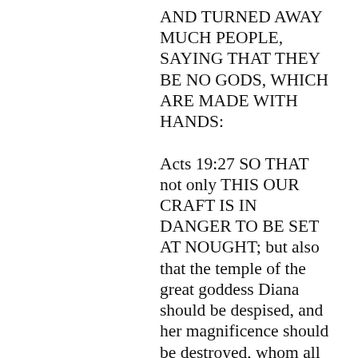AND TURNED AWAY MUCH PEOPLE, SAYING THAT THEY BE NO GODS, WHICH ARE MADE WITH HANDS:

Acts 19:27 SO THAT not only THIS OUR CRAFT IS IN DANGER TO BE SET AT NOUGHT; but also that the temple of the great goddess Diana should be despised, and her magnificence should be destroyed, whom all Asia and the